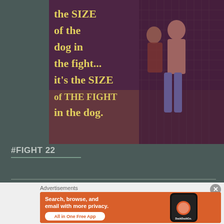[Figure (photo): MMA fighters standing in a cage/ring, with motivational quote overlaid in yellow serif font: 'the SIZE of the dog in the fight... it's the SIZE of THE FIGHT in the dog.' Photo has warm vintage toning.]
#FIGHT 22
[Figure (infographic): DuckDuckGo advertisement banner with orange background. Text: 'Search, browse, and email with more privacy. All in One Free App' with phone mockup showing DuckDuckGo app.]